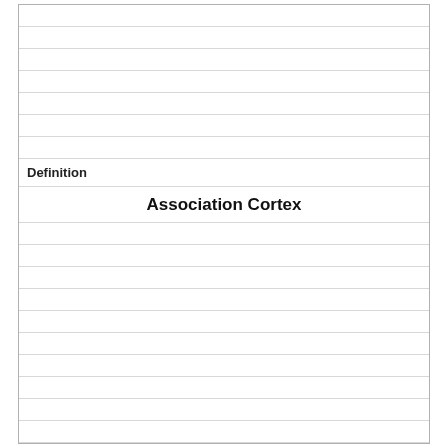| Definition | Term |
| --- | --- |
| Association Cortex | LD |